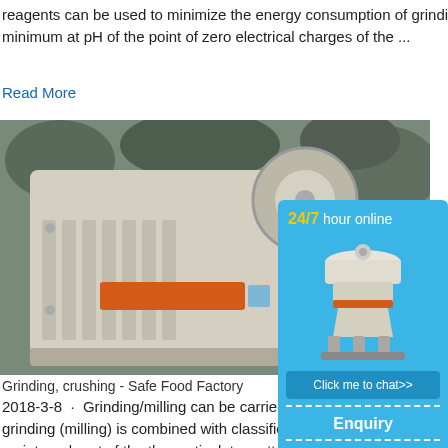reagents can be used to minimize the energy consumption of grinding, because grinding energy is minimum at pH of the point of zero electrical charges of the ...
Read More
[Figure (photo): Industrial jaw crusher machine, grey/cream colored with orange label, against rocky background]
Grinding, crushing - Safe Food Factory
2018-3-8 · Grinding/milling can be carried wet grinding/milling smaller particle sizes ca. Often dry grinding (milling) is combined with classification, this results in particle size fra cyclones are used as an integral part of the the particulate matter (dust) in extracted ...
Read More
[Figure (photo): Partial view of another industrial machine at bottom of page]
[Figure (infographic): Sidebar ad: 24/7 hour online, cone crusher image, Click me to chat>>, Enquiry, limingjlmofen]